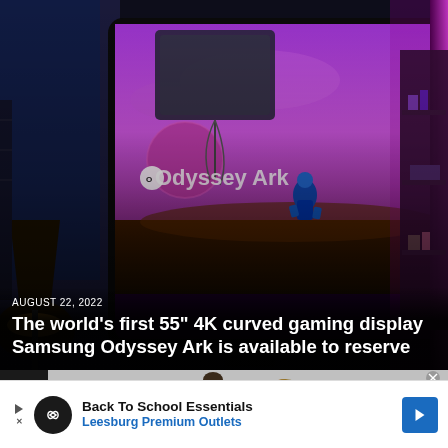[Figure (photo): Samsung Odyssey Ark curved gaming monitor displayed in a purple-lit room with gaming content on screen showing alien landscape. The monitor is curved and large, set against a purple/pink ambient room with shelves.]
AUGUST 22, 2022
The world’s first 55” 4K curved gaming display Samsung Odyssey Ark is available to reserve
[Figure (photo): Two people (women) sitting together, partially visible. A notice reads: No compatible source was found for this media.]
Back To School Essentials
Leesburg Premium Outlets